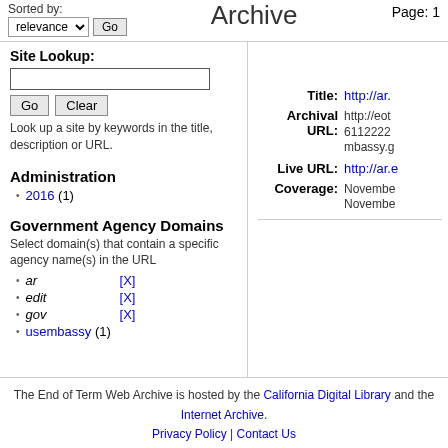Sorted by: relevance Go
Archive
Page: 1
Site Lookup:
Look up a site by keywords in the title, description or URL.
Administration
2016 (1)
Government Agency Domains
Select domain(s) that contain a specific agency name(s) in the URL
ar [X]
edit [X]
gov [X]
usembassy (1)
Title: http://ar.
Archival URL: http://eot 6112222 mbassy.g
Live URL: http://ar.e
Coverage: November November
The End of Term Web Archive is hosted by the California Digital Library and the Internet Archive. Privacy Policy | Contact Us